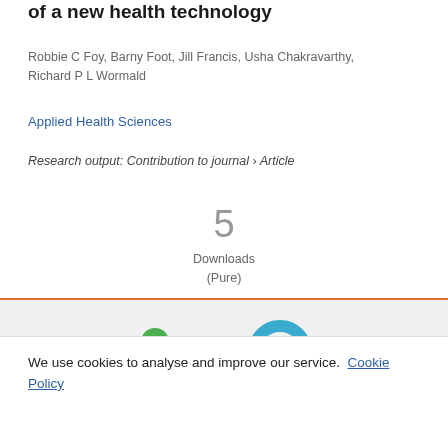of a new health technology
Robbie C Foy, Barny Foot, Jill Francis, Usha Chakravarthy, Richard P L Wormald
Applied Health Sciences
Research output: Contribution to journal › Article
5
Downloads
(Pure)
[Figure (other): Altmetric and Mendeley badges/icons partially visible at bottom of content area]
We use cookies to analyse and improve our service. Cookie Policy